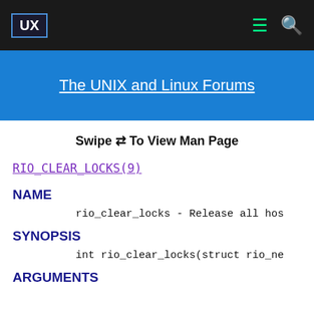UX | The UNIX and Linux Forums
The UNIX and Linux Forums
Swipe ⇌ To View Man Page
RIO_CLEAR_LOCKS(9)
NAME
rio_clear_locks - Release all hos
SYNOPSIS
int rio_clear_locks(struct rio_ne
ARGUMENTS